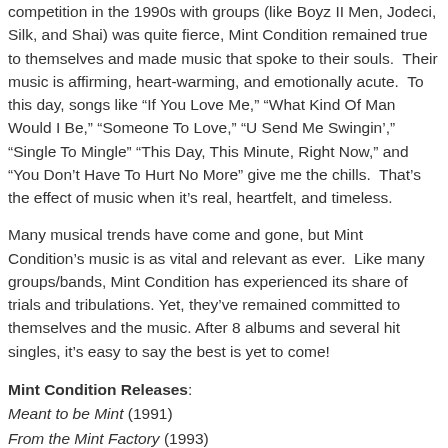competition in the 1990s with groups (like Boyz II Men, Jodeci, Silk, and Shai) was quite fierce, Mint Condition remained true to themselves and made music that spoke to their souls. Their music is affirming, heart-warming, and emotionally acute. To this day, songs like “If You Love Me,” “What Kind Of Man Would I Be,” “Someone To Love,” “U Send Me Swingin’,” “Single To Mingle” “This Day, This Minute, Right Now,” and “You Don’t Have To Hurt No More” give me the chills. That’s the effect of music when it’s real, heartfelt, and timeless.
Many musical trends have come and gone, but Mint Condition’s music is as vital and relevant as ever. Like many groups/bands, Mint Condition has experienced its share of trials and tribulations. Yet, they’ve remained committed to themselves and the music. After 8 albums and several hit singles, it’s easy to say the best is yet to come!
Mint Condition Releases:
Meant to be Mint (1991)
From the Mint Factory (1993)
Definition of a Band (1996)
Life’s Aquarium (1999)